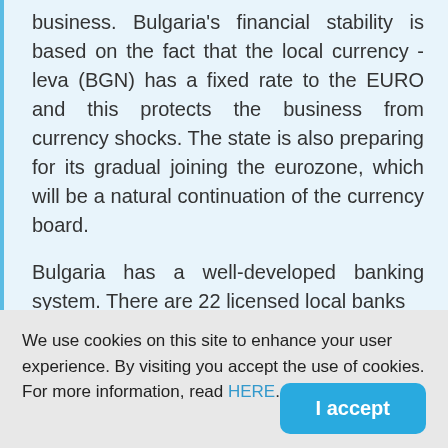business. Bulgaria's financial stability is based on the fact that the local currency - leva (BGN) has a fixed rate to the EURO and this protects the business from currency shocks. The state is also preparing for its gradual joining the eurozone, which will be a natural continuation of the currency board.

Bulgaria has a well-developed banking system. There are 22 licensed local banks
We use cookies on this site to enhance your user experience. By visiting you accept the use of cookies. For more information, read HERE.